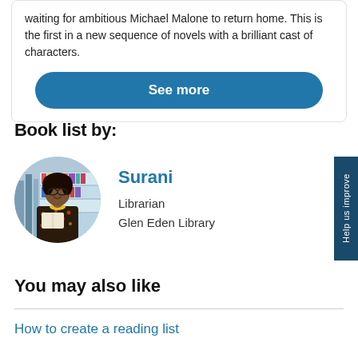waiting for ambitious Michael Malone to return home. This is the first in a new sequence of novels with a brilliant cast of characters.
See more
Book list by:
[Figure (photo): Circular photo of Surani, a librarian, standing in a library and reading a book, wearing a floral top and yellow scarf.]
Surani
Librarian
Glen Eden Library
Help us improve
You may also like
How to create a reading list